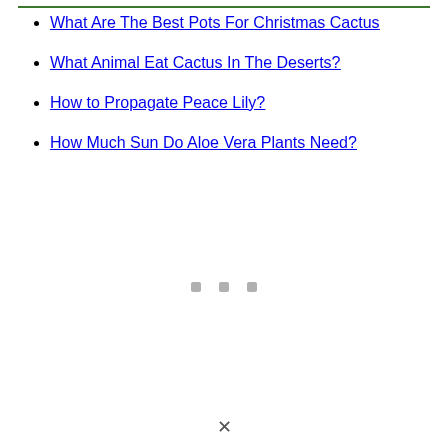What Are The Best Pots For Christmas Cactus
What Animal Eat Cactus In The Deserts?
How to Propagate Peace Lily?
How Much Sun Do Aloe Vera Plants Need?